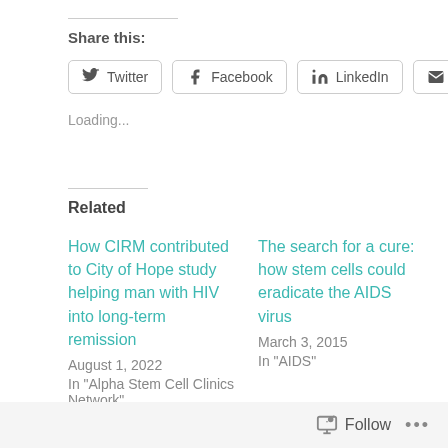Share this:
Twitter | Facebook | LinkedIn | Email
Loading...
Related
How CIRM contributed to City of Hope study helping man with HIV into long-term remission
August 1, 2022
In "Alpha Stem Cell Clinics Network"
The search for a cure: how stem cells could eradicate the AIDS virus
March 3, 2015
In "AIDS"
Stem Cell Agency Invests in